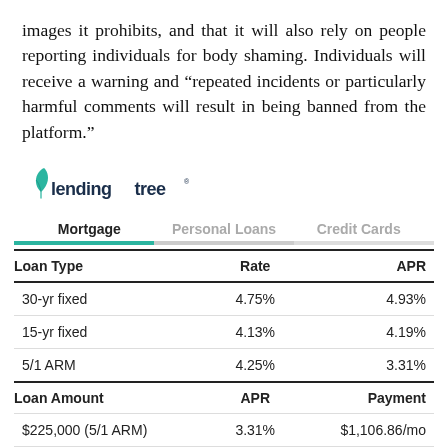images it prohibits, and that it will also rely on people reporting individuals for body shaming. Individuals will receive a warning and “repeated incidents or particularly harmful comments will result in being banned from the platform.”
[Figure (logo): LendingTree logo with green leaf icon and dark blue wordmark]
| Loan Type | Rate | APR |
| --- | --- | --- |
| 30-yr fixed | 4.75% | 4.93% |
| 15-yr fixed | 4.13% | 4.19% |
| 5/1 ARM | 4.25% | 3.31% |
| Loan Amount | APR | Payment |
| --- | --- | --- |
| $225,000 (5/1 ARM) | 3.31% | $1,106.86/mo |